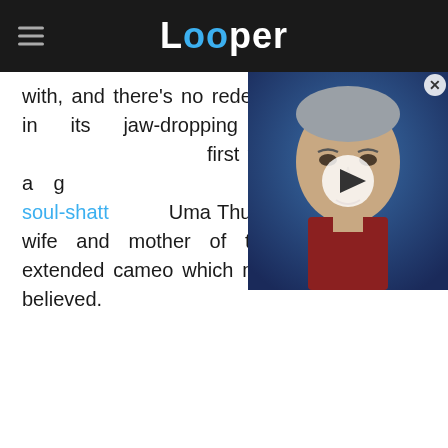Looper
with, and there’s no redemption to be found in its jaw-dropping ending. Despite this, the first volume also gained a good reputation for an absolutely soul-shatt… Uma Thurman as a betrayed wife and mother of three children, an extended cameo which must be seen to be believed.
[Figure (photo): Video thumbnail showing a man with gray hair against a blue background, with a play button overlay]